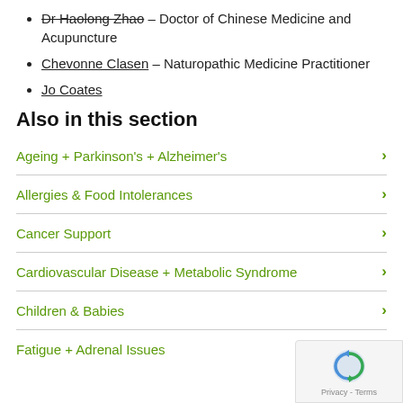Dr Haolong Zhao – Doctor of Chinese Medicine and Acupuncture
Chevonne Clasen – Naturopathic Medicine Practitioner
Jo Coates
Also in this section
Ageing + Parkinson's + Alzheimer's
Allergies & Food Intolerances
Cancer Support
Cardiovascular Disease + Metabolic Syndrome
Children & Babies
Fatigue + Adrenal Issues